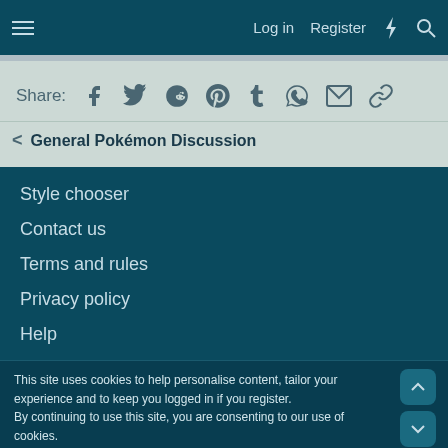Log in   Register
Share:
Style chooser
Contact us
Terms and rules
Privacy policy
Help
This site uses cookies to help personalise content, tailor your experience and to keep you logged in if you register.
By continuing to use this site, you are consenting to our use of cookies.
Accept   Learn more...